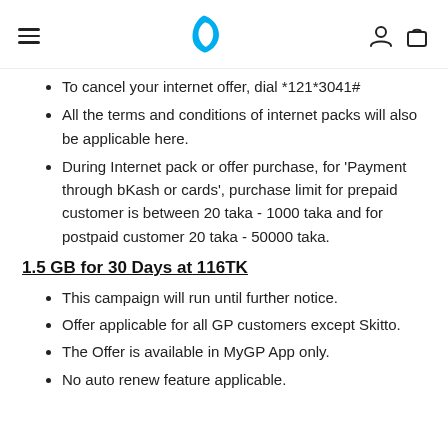Grameenphone header with logo
To cancel your internet offer, dial *121*3041#
All the terms and conditions of internet packs will also be applicable here.
During Internet pack or offer purchase, for 'Payment through bKash or cards', purchase limit for prepaid customer is between 20 taka - 1000 taka and for postpaid customer 20 taka - 50000 taka.
1.5 GB for 30 Days at 116TK
This campaign will run until further notice.
Offer applicable for all GP customers except Skitto.
The Offer is available in MyGP App only.
No auto renew feature applicable.